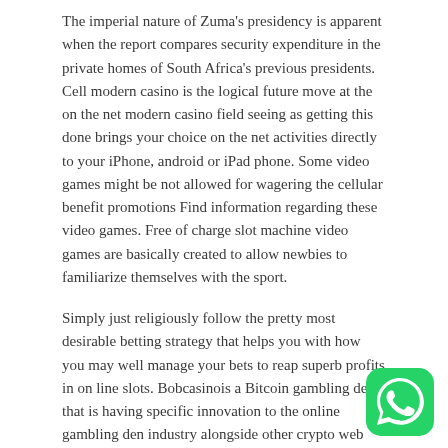The imperial nature of Zuma's presidency is apparent when the report compares security expenditure in the private homes of South Africa's previous presidents. Cell modern casino is the logical future move at the on the net modern casino field seeing as getting this done brings your choice on the net activities directly to your iPhone, android or iPad phone. Some video games might be not allowed for wagering the cellular benefit promotions Find information regarding these video games. Free of charge slot machine video games are basically created to allow newbies to familiarize themselves with the sport.
Simply just religiously follow the pretty most desirable betting strategy that helps you with how you may well manage your bets to reap superb profits in on line slots. Bobcasinois a Bitcoin gambling den that is having specific innovation to the online gambling den industry alongside other crypto web pages. Even so Sth Africa have become a different country underneath its most up-to-date coterie of the just about all mighty that surrounds President Jacob Zuma and has since Iost its claim to the moraI big ground. Have the come to feel of trying to play modern casino activities while exciting at property.
In some cases, that's the matter that we really want at scenarios like yours. Zuma created about eight new ministries
[Figure (logo): WhatsApp green logo icon in bottom right corner]